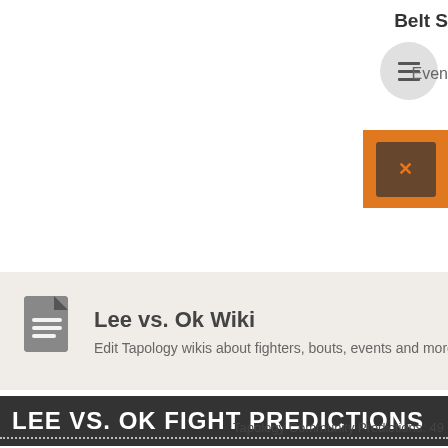Belt S  Eveni
Lee vs. Ok Wiki
Edit Tapology wikis about fighters, bouts, events and more. Help bu
LEE VS. OK FIGHT PREDICTIONS
Tapology Community Predictions: 49